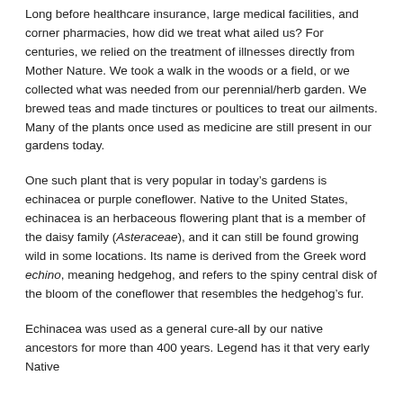Long before healthcare insurance, large medical facilities, and corner pharmacies, how did we treat what ailed us? For centuries, we relied on the treatment of illnesses directly from Mother Nature. We took a walk in the woods or a field, or we collected what was needed from our perennial/herb garden. We brewed teas and made tinctures or poultices to treat our ailments. Many of the plants once used as medicine are still present in our gardens today.
One such plant that is very popular in today's gardens is echinacea or purple coneflower. Native to the United States, echinacea is an herbaceous flowering plant that is a member of the daisy family (Asteraceae), and it can still be found growing wild in some locations. Its name is derived from the Greek word echino, meaning hedgehog, and refers to the spiny central disk of the bloom of the coneflower that resembles the hedgehog's fur.
Echinacea was used as a general cure-all by our native ancestors for more than 400 years. Legend has it that very early Native